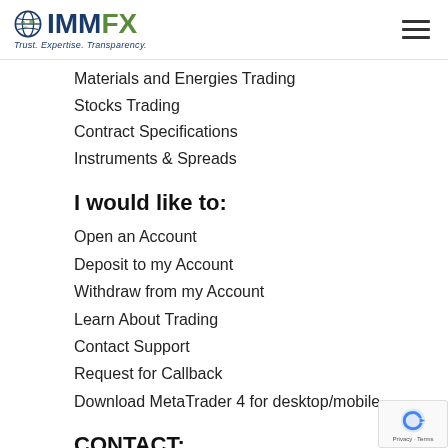IMMFX — Trust. Expertise. Transparency.
Materials and Energies Trading
Stocks Trading
Contract Specifications
Instruments & Spreads
I would like to:
Open an Account
Deposit to my Account
Withdraw from my Account
Learn About Trading
Contact Support
Request for Callback
Download MetaTrader 4 for desktop/mobile
CONTACT: